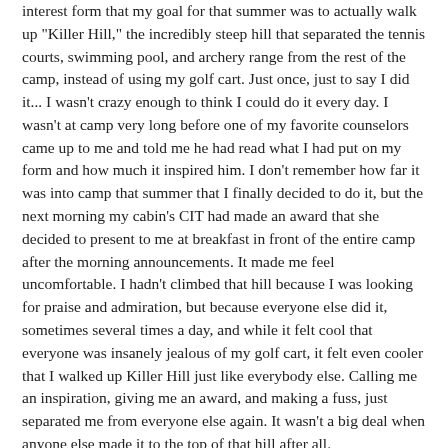interest form that my goal for that summer was to actually walk up "Killer Hill," the incredibly steep hill that separated the tennis courts, swimming pool, and archery range from the rest of the camp, instead of using my golf cart. Just once, just to say I did it... I wasn't crazy enough to think I could do it every day. I wasn't at camp very long before one of my favorite counselors came up to me and told me he had read what I had put on my form and how much it inspired him. I don't remember how far it was into camp that summer that I finally decided to do it, but the next morning my cabin's CIT had made an award that she decided to present to me at breakfast in front of the entire camp after the morning announcements. It made me feel uncomfortable. I hadn't climbed that hill because I was looking for praise and admiration, but because everyone else did it, sometimes several times a day, and while it felt cool that everyone was insanely jealous of my golf cart, it felt even cooler that I walked up Killer Hill just like everybody else. Calling me an inspiration, giving me an award, and making a fuss, just separated me from everyone else again. It wasn't a big deal when anyone else made it to the top of that hill after all.
The second instance happened much more recently, last